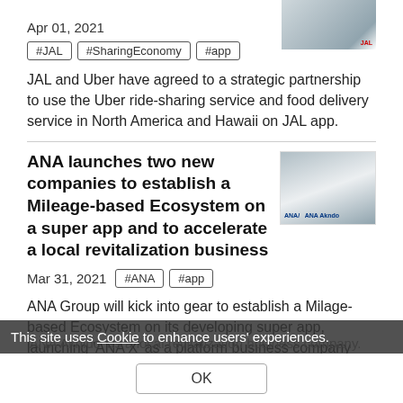[Figure (photo): Partial view of a JAL airplane tail at top right corner]
Apr 01, 2021
#JAL  #SharingEconomy  #app
JAL and Uber have agreed to a strategic partnership to use the Uber ride-sharing service and food delivery service in North America and Hawaii on JAL app.
ANA launches two new companies to establish a Mileage-based Ecosystem on a super app and to accelerate a local revitalization business
[Figure (photo): Two men in suits seated at a table with ANA and ANA Aknido logos visible behind them]
Mar 31, 2021
#ANA  #app
ANA Group will kick into gear to establish a Milage-based Ecosystem on its developing super app, launching 'ANA X' as a platform business company and 'ANA Aknido' as a local revitalization business company.
This site uses Cookie to enhance users' experiences.
OK